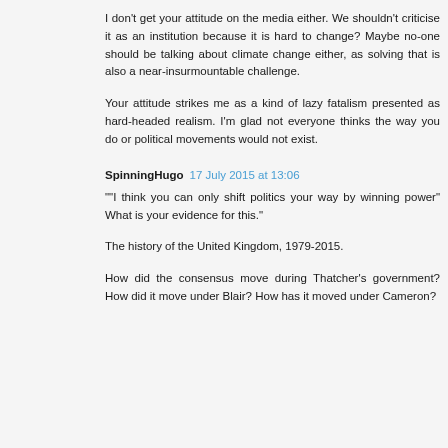I don't get your attitude on the media either. We shouldn't criticise it as an institution because it is hard to change? Maybe no-one should be talking about climate change either, as solving that is also a near-insurmountable challenge.
Your attitude strikes me as a kind of lazy fatalism presented as hard-headed realism. I'm glad not everyone thinks the way you do or political movements would not exist.
SpinningHugo  17 July 2015 at 13:06
""I think you can only shift politics your way by winning power" What is your evidence for this."
The history of the United Kingdom, 1979-2015.
How did the consensus move during Thatcher's government? How did it move under Blair? How has it moved under Cameron?